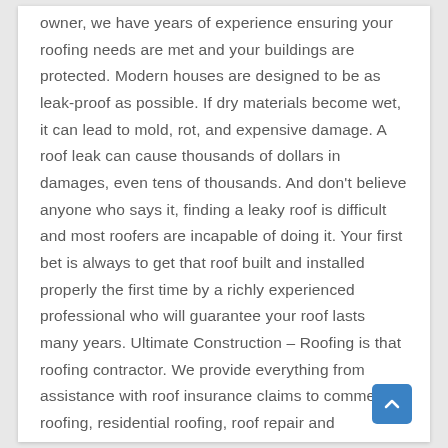owner, we have years of experience ensuring your roofing needs are met and your buildings are protected. Modern houses are designed to be as leak-proof as possible. If dry materials become wet, it can lead to mold, rot, and expensive damage. A roof leak can cause thousands of dollars in damages, even tens of thousands. And don't believe anyone who says it, finding a leaky roof is difficult and most roofers are incapable of doing it. Your first bet is always to get that roof built and installed properly the first time by a richly experienced professional who will guarantee your roof lasts many years. Ultimate Construction – Roofing is that roofing contractor. We provide everything from assistance with roof insurance claims to commercial roofing, residential roofing, roof repair and emergency roof repair and storm repair, shingle roofing, tile roofing, slate roofing, flat roofing, and much more. If you're not sure what you need, Ultimate